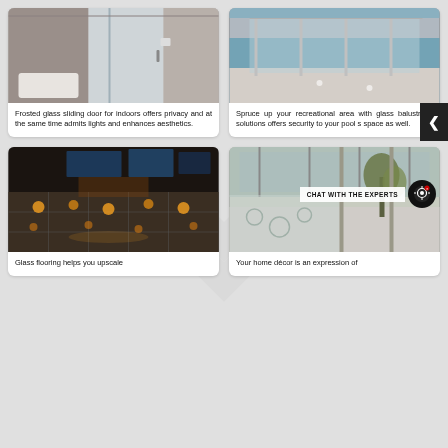[Figure (photo): Frosted glass sliding door interior bathroom]
Frosted glass sliding door for indoors offers privacy and at the same time admits lights and enhances aesthetics.
[Figure (photo): Glass balustrade around a swimming pool recreational area]
Spruce up your recreational area with glass balustrade solutions offers security to your pool s space as well.
[Figure (photo): Glass flooring with ambient lighting in a dark interior space]
Glass flooring helps you upscale
[Figure (photo): Home decor with glass partitions and tropical plants]
Your home décor is an expression of